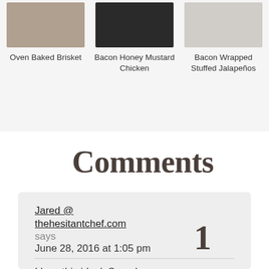[Figure (photo): Thumbnail image of Oven Baked Brisket recipe]
Oven Baked Brisket
[Figure (photo): Thumbnail image of Bacon Honey Mustard Chicken recipe]
Bacon Honey Mustard Chicken
[Figure (photo): Thumbnail image of Bacon Wrapped Stuffed Jalapeños recipe]
Bacon Wrapped Stuffed Jalapeños
Comments
Jared @ thehesitantchef.com says June 28, 2016 at 1:05 pm
I love this ideal. Sounds